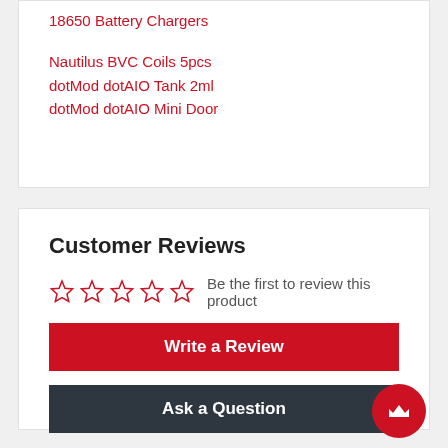18650 Battery Chargers
Nautilus BVC Coils 5pcs
dotMod dotAIO Tank 2ml
dotMod dotAIO Mini Door
Customer Reviews
Be the first to review this product
Write a Review
Ask a Question